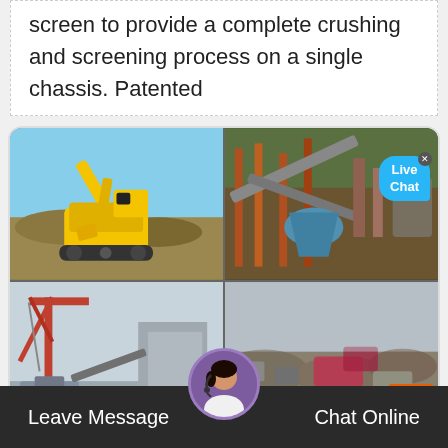screen to provide a complete crushing and screening process on a single chassis. Patented
[Figure (photo): Four-panel image grid showing mining and crushing equipment: top-left shows a yellow excavator/mobile crusher on a rock pile under blue sky; top-right shows an industrial crushing plant with conveyor belts and a 'Live Chat' bubble overlay; bottom-left shows a construction crane and plant structure; bottom-right shows a demolition/debris scene with machinery.]
Leave Message
Chat Online